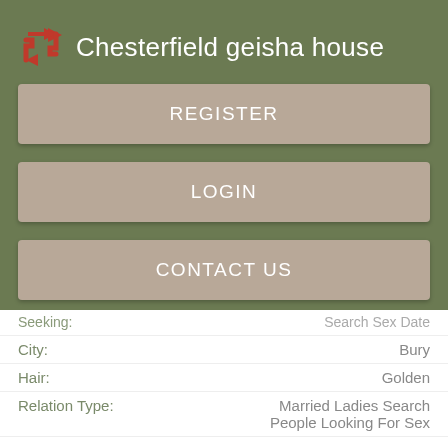Chesterfield geisha house
REGISTER
LOGIN
CONTACT US
Seeking: Search Sex Date
City: Bury
Hair: Golden
Relation Type: Married Ladies Search People Looking For Sex
Views: 7650